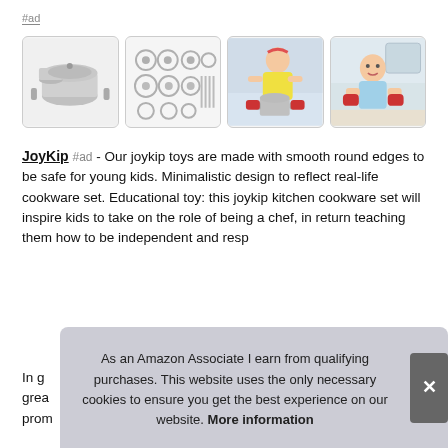#ad
[Figure (photo): Four product images: (1) stainless steel cookware pot set, (2) all pieces of the cookware set laid out flat, (3) young girl in yellow shirt using toy cookware, (4) toddler boy in kitchen with red oven mitts]
JoyKip #ad - Our joykip toys are made with smooth round edges to be safe for young kids. Minimalistic design to reflect real-life cookware set. Educational toy: this joykip kitchen cookware set will inspire kids to take on the role of being a chef, in return teaching them how to be independent and resp
In g grea prom
As an Amazon Associate I earn from qualifying purchases. This website uses the only necessary cookies to ensure you get the best experience on our website. More information